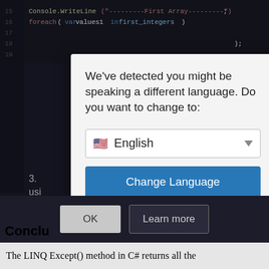[Figure (screenshot): Code editor background showing C# code with line numbers 15-30, with foreach loop over first_integers array]
We've detected you might be speaking a different language. Do you want to change to:
[Figure (screenshot): Dropdown selector showing US flag emoji and 'English' label with downward arrow]
Change Language
Close and do not switch language
OK
Learn more
Conclu
The LINQ Except() method in C# returns all the